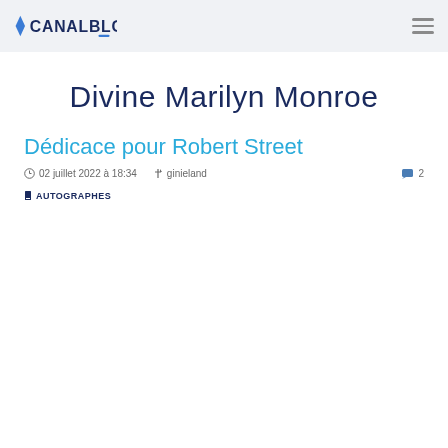CANALBLOG
Divine Marilyn Monroe
Dédicace pour Robert Street
02 juillet 2022 à 18:34  ginieland  2
AUTOGRAPHES